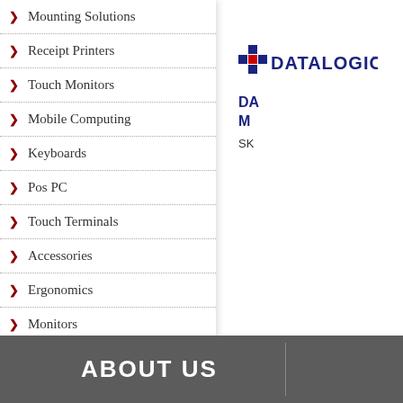Mounting Solutions
Receipt Printers
Touch Monitors
Mobile Computing
Keyboards
Pos PC
Touch Terminals
Accessories
Ergonomics
Monitors
Scanner Scales
[Figure (logo): Datalogic logo with blue cross/plus icon and bold blue text DATALOGIC with TM mark]
DA M
SK
ABOUT US